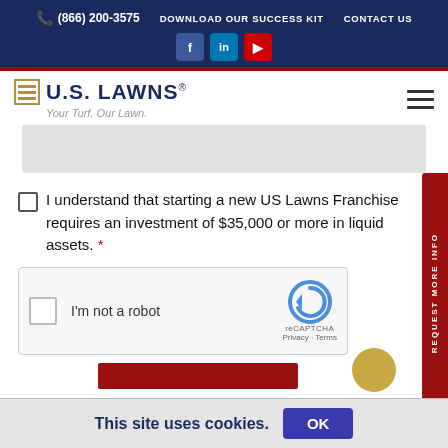(866) 200-3575  DOWNLOAD OUR SUCCESS KIT  CONTACT US
[Figure (logo): U.S. Lawns logo with tagline 'Your Turf. Our Lawn.']
I understand that starting a new US Lawns Franchise requires an investment of $35,000 or more in liquid assets. *
[Figure (screenshot): reCAPTCHA widget with checkbox 'I'm not a robot' and reCAPTCHA logo, Privacy and Terms links]
This site uses cookies.